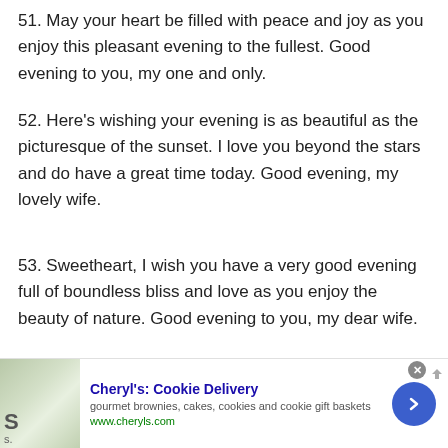51. May your heart be filled with peace and joy as you enjoy this pleasant evening to the fullest. Good evening to you, my one and only.
52. Here’s wishing your evening is as beautiful as the picturesque of the sunset. I love you beyond the stars and do have a great time today. Good evening, my lovely wife.
53. Sweetheart, I wish you have a very good evening full of boundless bliss and love as you enjoy the beauty of nature. Good evening to you, my dear wife.
[Figure (other): Advertisement banner for Cheryl's Cookie Delivery showing a cookie/food image on the left, ad text in the center, and a blue circular arrow button on the right.]